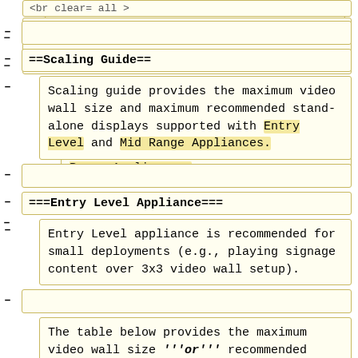<br clear= all >
==Scaling Guide==
Scaling guide provides the maximum video wall size and maximum recommended stand-alone displays supported with Entry Level and Mid Range Appliances.
===Entry Level Appliance===
Entry Level appliance is recommended for small deployments (e.g., playing signage content over 3x3 video wall setup).
The table below provides the maximum video wall size '''or''' recommended stand-alone